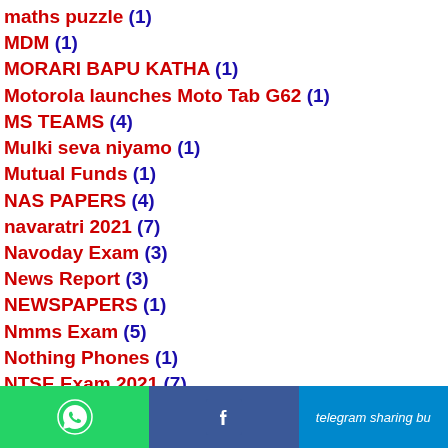maths puzzle (1)
MDM (1)
MORARI BAPU KATHA (1)
Motorola launches Moto Tab G62 (1)
MS TEAMS (4)
Mulki seva niyamo (1)
Mutual Funds (1)
NAS PAPERS (4)
navaratri 2021 (7)
Navoday Exam (3)
News Report (3)
NEWSPAPERS (1)
Nmms Exam (5)
Nothing Phones (1)
NTSE Exam 2021 (7)
NTSE EXAM OLD PAPER (6)
OBLINE HAJRI (1)
WhatsApp share | Facebook share | Telegram sharing button